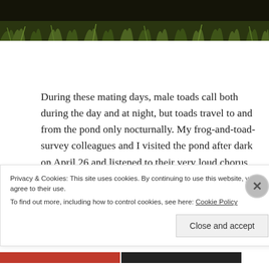[Figure (photo): Top strip of a nature/outdoor photo showing dark soil and green grass at bottom edge]
During these mating days, male toads call both during the day and at night, but toads travel to and from the pond only nocturnally. My frog-and-toad-survey colleagues and I visited the pond after dark on April 26 and listened to their very loud chorus for several minutes.
Privacy & Cookies: This site uses cookies. By continuing to use this website, you agree to their use.
To find out more, including how to control cookies, see here: Cookie Policy
Close and accept